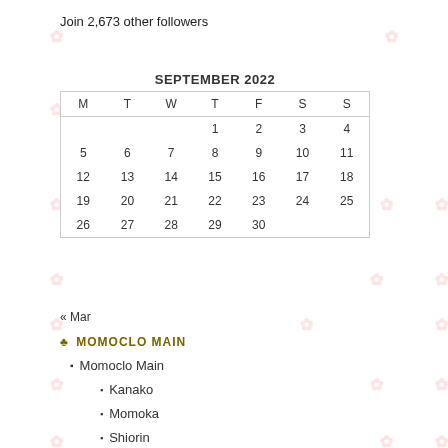Join 2,673 other followers
| M | T | W | T | F | S | S |
| --- | --- | --- | --- | --- | --- | --- |
|  |  |  | 1 | 2 | 3 | 4 |
| 5 | 6 | 7 | 8 | 9 | 10 | 11 |
| 12 | 13 | 14 | 15 | 16 | 17 | 18 |
| 19 | 20 | 21 | 22 | 23 | 24 | 25 |
| 26 | 27 | 28 | 29 | 30 |  |  |
« Mar
♣ MOMOCLO MAIN
Momoclo Main
Kanako
Momoka
Shiorin
Aarin
Reni-chan
Momoclo Lyrics
Momoclo Dictionary